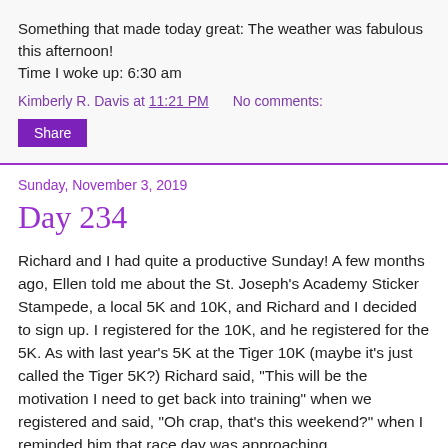Something that made today great: The weather was fabulous this afternoon!
Time I woke up: 6:30 am
Kimberly R. Davis at 11:21 PM    No comments:
Share
Sunday, November 3, 2019
Day 234
Richard and I had quite a productive Sunday! A few months ago, Ellen told me about the St. Joseph's Academy Sticker Stampede, a local 5K and 10K, and Richard and I decided to sign up. I registered for the 10K, and he registered for the 5K. As with last year's 5K at the Tiger 10K (maybe it's just called the Tiger 5K?) Richard said, "This will be the motivation I need to get back into training" when we registered and said, "Oh crap, that's this weekend?" when I reminded him that race day was approaching.